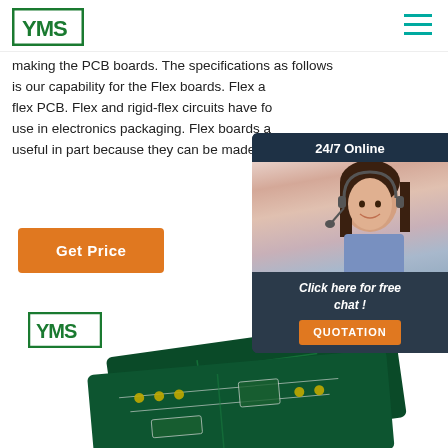[Figure (logo): YMS logo in green square border, top left header]
[Figure (other): Hamburger menu icon (three teal horizontal lines), top right header]
making the PCB boards. The specifications as follows is our capability for the Flex boards. Flex and flex PCB. Flex and rigid-flex circuits have found use in electronics packaging. Flex boards are useful in part because they can be made ...
[Figure (other): Orange 'Get Price' button]
[Figure (photo): 24/7 Online chat widget showing a customer service representative woman with headset, dark navy background, 'Click here for free chat!' text, and orange 'QUOTATION' button]
[Figure (photo): YMS branded PCB boards product photo at the bottom of the page, showing green circuit boards with white traces]